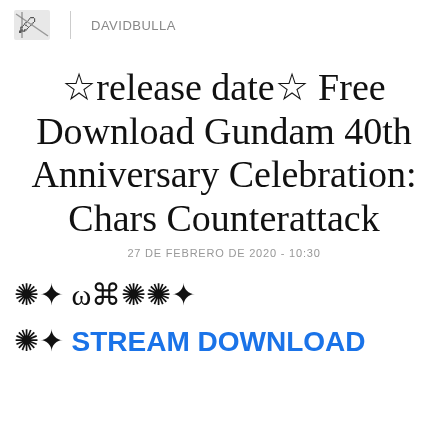DAVIDBULLA
☆release date☆ Free Download Gundam 40th Anniversary Celebration: Chars Counterattack
27 DE FEBRERO DE 2020 - 10:30
✺✦ ω⌘✺✺✦
✺✦ STREAM DOWNLOAD